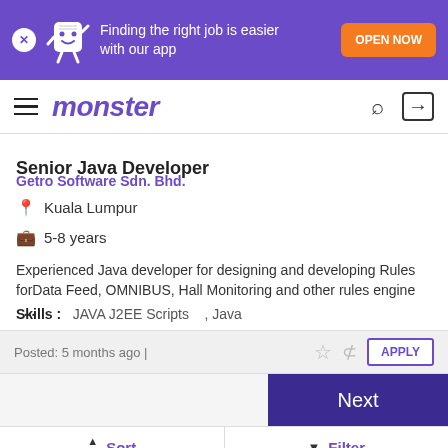[Figure (screenshot): Monster job board app promotional banner with mascot character, purple background, orange OPEN NOW button]
monster — job search navigation bar with hamburger menu, search and login icons
Senior Java Developer
Getro Software Sdn. Bhd.
Kuala Lumpur
5-8 years
Experienced Java developer for designing and developing Rules forData Feed, OMNIBUS, Hall Monitoring and other rules engine ...
Skills : JAVA J2EE Scripts , Java
Posted: 5 months ago |
Next
Sort Relevance | Filter 28 Jobs